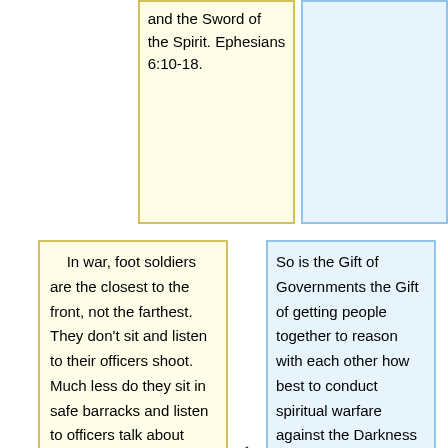and the Sword of the Spirit. Ephesians 6:10-18.
In war, foot soldiers are the closest to the front, not the farthest. They don't sit and listen to their officers shoot. Much less do they sit in safe barracks and listen to officers talk about shooting, while neither officers nor soldiers do any shooting or risk taking.
So is the Gift of Governments the Gift of getting people together to reason with each other how best to conduct spiritual warfare against the Darkness outside?